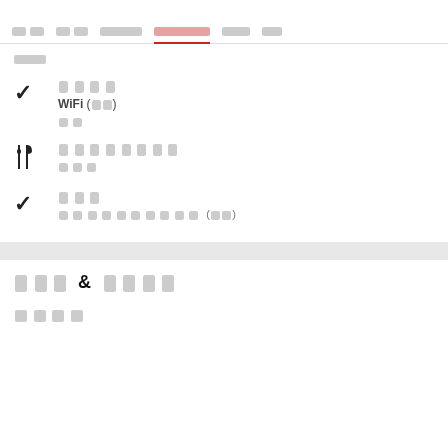[nav items: tab1, tab2, tab3, tab4(active), tab5, tab6]
[subheading text]
[checkmark] [section title 1] — WiFi ([xx]) / [xx]
[fork icon] [section title 2] — [xxx]
[checkmark] [section title 3] — [xxxxxxxxxx] ([xx])
[xxx] & [xxxx]
[xxxx]